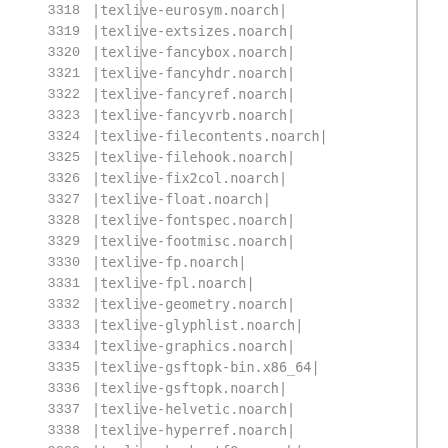| number | package |
| --- | --- |
| 3318 | |texlive-eurosym.noarch| |
| 3319 | |texlive-extsizes.noarch| |
| 3320 | |texlive-fancybox.noarch| |
| 3321 | |texlive-fancyhdr.noarch| |
| 3322 | |texlive-fancyref.noarch| |
| 3323 | |texlive-fancyvrb.noarch| |
| 3324 | |texlive-filecontents.noarch| |
| 3325 | |texlive-filehook.noarch| |
| 3326 | |texlive-fix2col.noarch| |
| 3327 | |texlive-float.noarch| |
| 3328 | |texlive-fontspec.noarch| |
| 3329 | |texlive-footmisc.noarch| |
| 3330 | |texlive-fp.noarch| |
| 3331 | |texlive-fpl.noarch| |
| 3332 | |texlive-geometry.noarch| |
| 3333 | |texlive-glyphlist.noarch| |
| 3334 | |texlive-graphics.noarch| |
| 3335 | |texlive-gsftopk-bin.x86_64| |
| 3336 | |texlive-gsftopk.noarch| |
| 3337 | |texlive-helvetic.noarch| |
| 3338 | |texlive-hyperref.noarch| |
| 3339 | |texlive-hyph-utf8.noarch| |
| 3340 | |texlive-hyphen-base.noarch| |
| 3341 | |texlive-ifetex.noarch| |
| 3342 | |texlive-ifluatex.noarch| |